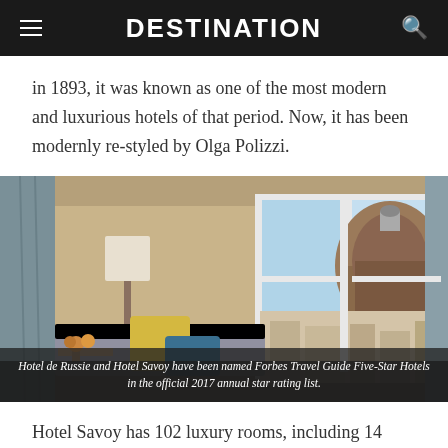DESTINATION
in 1893, it was known as one of the most modern and luxurious hotels of that period. Now, it has been modernly re-styled by Olga Polizzi.
[Figure (photo): Hotel room interior with a sofa and floor lamp on the left, and an open window with grey curtains revealing a view of Florence's Cathedral dome (Duomo) on the right.]
Hotel de Russie and Hotel Savoy have been named Forbes Travel Guide Five-Star Hotels in the official 2017 annual star rating list.
Hotel Savoy has 102 luxury rooms, including 14 newly